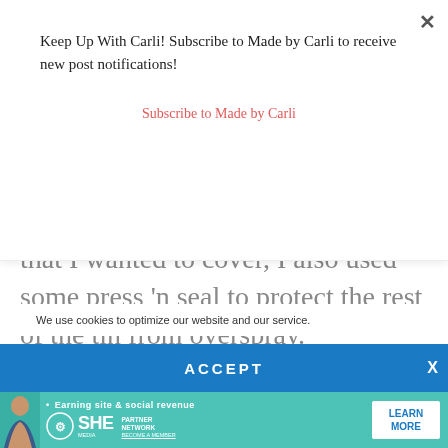Keep Up With Carli! Subscribe to Made by Carli to receive new post notifications!
Subscribe to Made by Carli
that I wanted to cover, I also used some press 'n seal to protect the rest of the tin from overspray.
I then gave the tin 3 light coats of spray paint and let it dry.
We use cookies to optimize our website and our service.
ACCEPT
[Figure (advertisement): SHE Partner Network advertisement banner with a woman's photo, tagline 'Earning site & social revenue', SHE logo, and 'LEARN MORE' button on teal background]